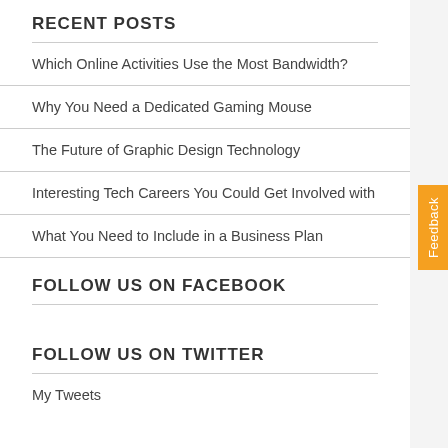RECENT POSTS
Which Online Activities Use the Most Bandwidth?
Why You Need a Dedicated Gaming Mouse
The Future of Graphic Design Technology
Interesting Tech Careers You Could Get Involved with
What You Need to Include in a Business Plan
FOLLOW US ON FACEBOOK
FOLLOW US ON TWITTER
My Tweets